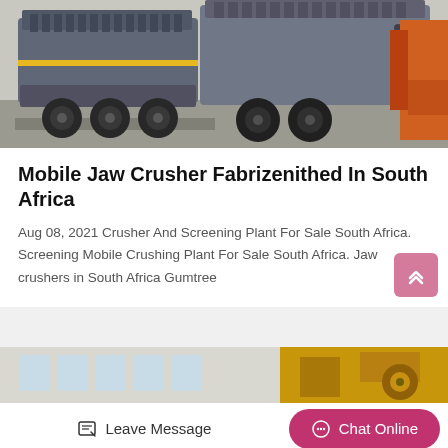[Figure (photo): Mobile jaw crusher on wheels/trailer in an industrial yard, grey machinery with orange equipment visible in background]
Mobile Jaw Crusher Fabrizenithed In South Africa
Aug 08, 2021 Crusher And Screening Plant For Sale South Africa. Screening Mobile Crushing Plant For Sale South Africa. Jaw crushers in South Africa Gumtree
[Figure (photo): Partial view of industrial building and yellow machinery at bottom of page]